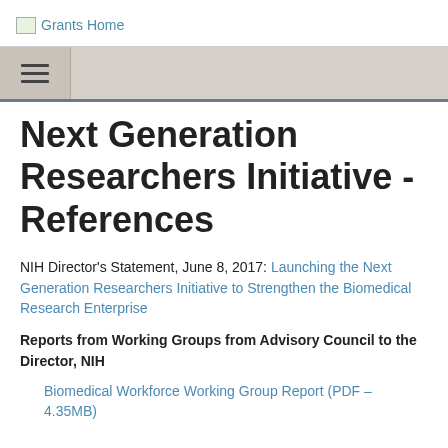Grants Home
Next Generation Researchers Initiative - References
NIH Director's Statement, June 8, 2017: Launching the Next Generation Researchers Initiative to Strengthen the Biomedical Research Enterprise
Reports from Working Groups from Advisory Council to the Director, NIH
Biomedical Workforce Working Group Report (PDF – 4.35MB)